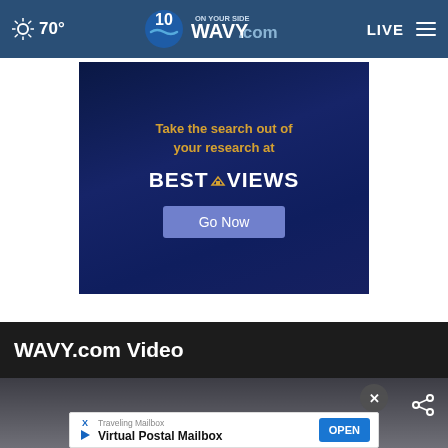70° WAVY.com ON YOUR SIDE LIVE
[Figure (advertisement): BestReviews ad banner with dark blue background. Text reads: 'Take the search out of your research at BESTREVIEWS' with a 'Go Now' button]
WAVY.com Video
[Figure (screenshot): Video thumbnail section showing a dark/grey background with a close button (X) and share icon]
[Figure (advertisement): Traveling Mailbox - Virtual Postal Mailbox ad with OPEN button]